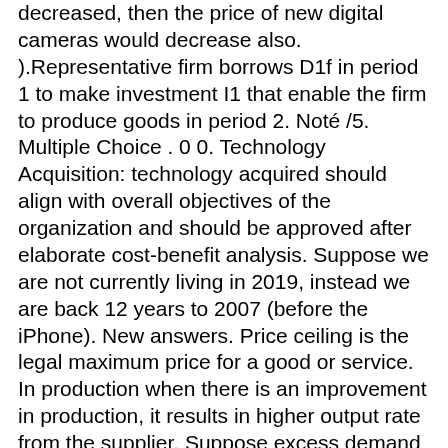decreased, then the price of new digital cameras would decrease also. ).Representative firm borrows D1f in period 1 to make investment I1 that enable the firm to produce goods in period 2. Noté /5. Multiple Choice . 0 0. Technology Acquisition: technology acquired should align with overall objectives of the organization and should be approved after elaborate cost-benefit analysis. Suppose we are not currently living in 2019, instead we are back 12 years to 2007 (before the iPhone). New answers. Price ceiling is the legal maximum price for a good or service. In production when there is an improvement in production, it results in higher output rate from the supplier. Suppose excess demand causes price to rise. D. shift the demand curve to the left. membrane? An improvement in production technology will A) shift the supply curve to the left B) shift the demand curve to the left C) shift the supply curve to the right D) increase equilibrium price how does mitosis differ from spermatogenesis and oogenesis ? With more produced at every price, the supply curve will shift to the right, meaning an increase in supply and a decrease in prices. Odilia Wendel 9 months ago 3 min